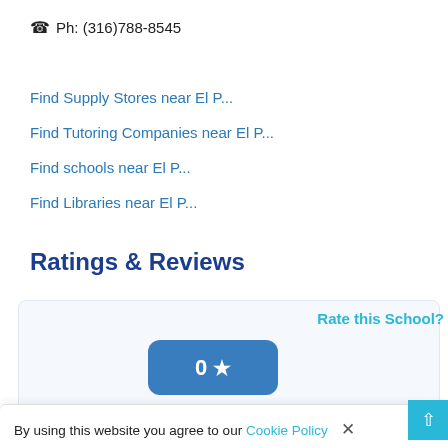Ph: (316)788-8545
Find Supply Stores near El P...
Find Tutoring Companies near El P...
Find schools near El P...
Find Libraries near El P...
Ratings & Reviews
Rate this School?
[Figure (infographic): Rating badge showing 0 stars with text '0 Ratings & 0 Reviews']
By using this website you agree to our Cookie Policy ×